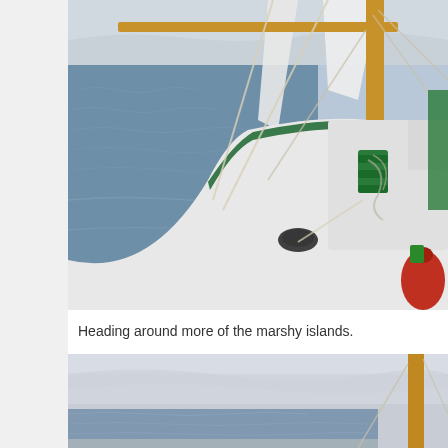[Figure (photo): View from the deck of a sailboat on the water. White hull with green trim stripe, wooden mast, rigging ropes, green cleats, red fender visible. Calm water and overcast sky in background with distant shoreline.]
Heading around more of the marshy islands.
[Figure (photo): Another photo from the sailboat, showing overcast sky and wooden mast on the right, with calm water visible below.]